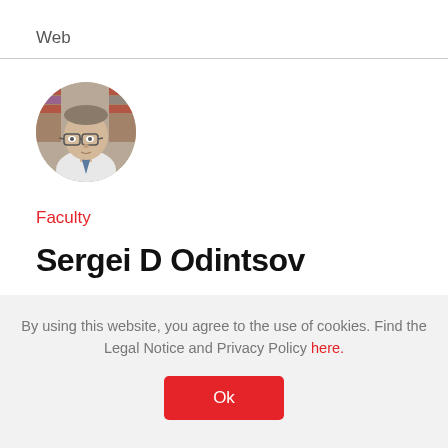Web
[Figure (photo): Circular profile photo of a man wearing glasses and a tie, with bookshelves in the background]
Faculty
Sergei D Odintsov
By using this website, you agree to the use of cookies. Find the Legal Notice and Privacy Policy here.